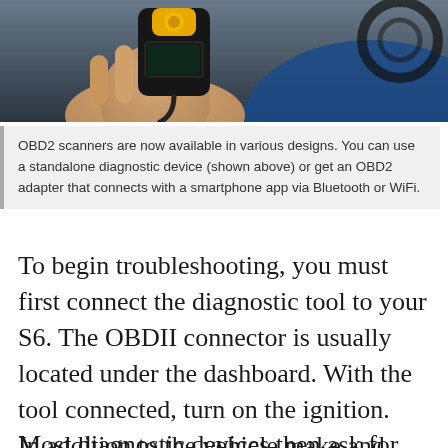[Figure (photo): A hand holding a black OBD2 diagnostic scanner with a yellow top, photographed inside a car interior with blue upholstery and a steering wheel visible in the background.]
OBD2 scanners are now available in various designs. You can use a standalone diagnostic device (shown above) or get an OBD2 adapter that connects with a smartphone app via Bluetooth or WiFi.
To begin troubleshooting, you must first connect the diagnostic tool to your S6. The OBDII connector is usually located under the dashboard. With the tool connected, turn on the ignition. Most diagnostic devices then ask for some information about the vehicle. It is important that you enter this 100% correctly, otherwise the result of the search may be inaccurate.
In addition to the vehicle make and model, you